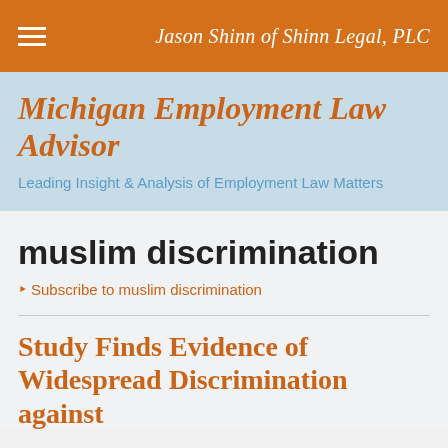Jason Shinn of Shinn Legal, PLC
Michigan Employment Law Advisor
Leading Insight & Analysis of Employment Law Matters
muslim discrimination
Subscribe to muslim discrimination
Study Finds Evidence of Widespread Discrimination against...